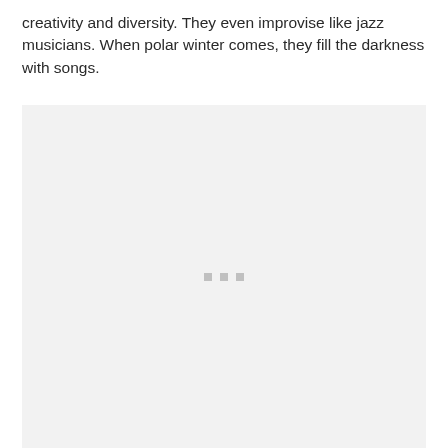creativity and diversity. They even improvise like jazz musicians. When polar winter comes, they fill the darkness with songs.
[Figure (photo): A light gray placeholder image region with three small gray squares centered near the middle, indicating a loading or placeholder image.]